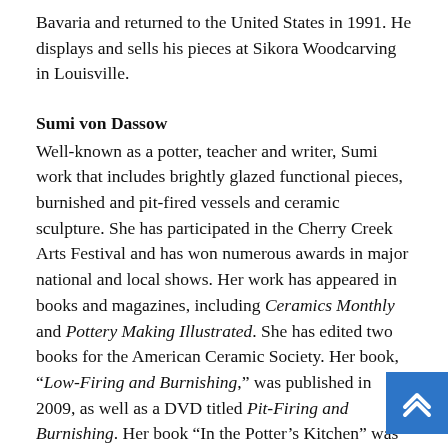Bavaria and returned to the United States in 1991. He displays and sells his pieces at Sikora Woodcarving in Louisville.
Sumi von Dassow
Well-known as a potter, teacher and writer, Sumi work that includes brightly glazed functional pieces, burnished and pit-fired vessels and ceramic sculpture. She has participated in the Cherry Creek Arts Festival and has won numerous awards in major national and local shows. Her work has appeared in books and magazines, including Ceramics Monthly and Pottery Making Illustrated. She has edited two books for the American Ceramic Society. Her book, “Low-Firing and Burnishing,” was published in 2009, as well as a DVD titled Pit-Firing and Burnishing. Her book “In the Potter’s Kitchen” was published in 2014. Her innovative work is represented in permanent collections of several arts institutions throughout the cou Sumi studied ceramics in Seattle and San Francisco and graduated summa cum laude from San Francisco State